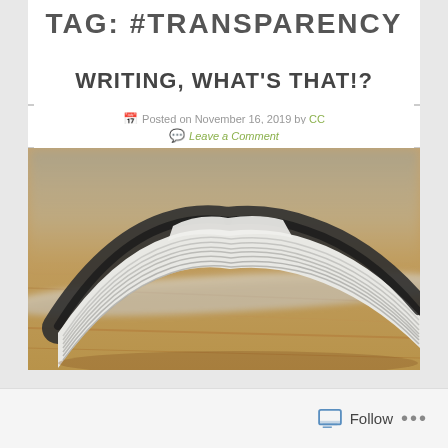TAG: #TRANSPARENCY
WRITING, WHAT'S THAT!?
Posted on November 16, 2019 by CC
Leave a Comment
[Figure (photo): Close-up photo of a folded newspaper or magazine on a wooden surface, shot at a shallow depth of field with a blurred background.]
Follow